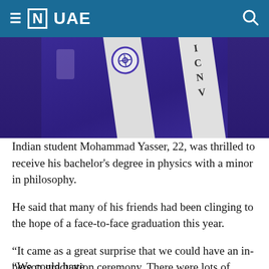≡ [N] UAE
[Figure (photo): A person wearing a blue graduation gown with two white sashes, one bearing a circular logo and the other with letters I, C, N, V visible.]
Indian student Mohammad Yasser, 22, was thrilled to receive his bachelor's degree in physics with a minor in philosophy.
He said that many of his friends had been clinging to the hope of a face-to-face graduation this year.
“It came as a great surprise that we could have an in-person graduation ceremony. There were lots of hopes on the line,” Mr Yasser said.
“We could have… [continues]